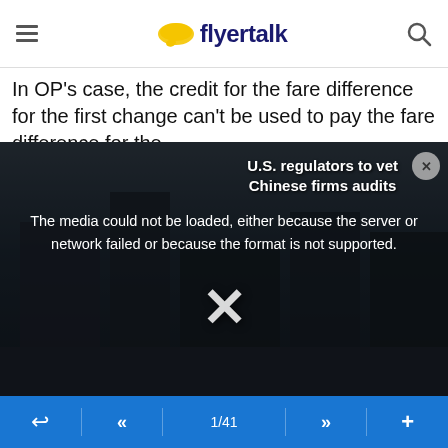flyertalk
In OP's case, the credit for the fare difference for the first change can't be used to pay the fare difference for the
[Figure (screenshot): Media player error overlay on a street scene background, showing 'The media could not be loaded, either because the server or network failed or because the format is not supported.' with a large X and news headline 'U.S. regulators to vet Chinese firms audits']
ACR2013 , Oct 9, 20 7:12 pm
Quote:
Originally Posted by Often1
The latter.

Take a simple example:
1/41